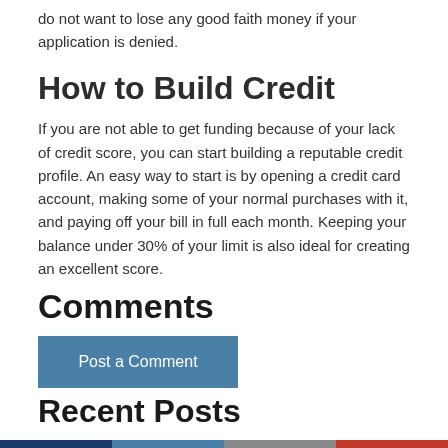do not want to lose any good faith money if your application is denied.
How to Build Credit
If you are not able to get funding because of your lack of credit score, you can start building a reputable credit profile. An easy way to start is by opening a credit card account, making some of your normal purchases with it, and paying off your bill in full each month. Keeping your balance under 30% of your limit is also ideal for creating an excellent score.
Comments
Post a Comment
Recent Posts